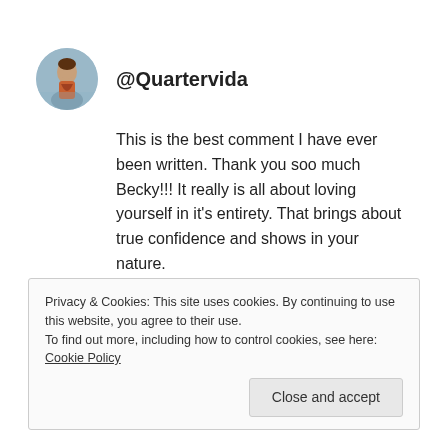@Quartervida
This is the best comment I have ever been written. Thank you soo much Becky!!! It really is all about loving yourself in it’s entirety. That brings about true confidence and shows in your nature.
September 9, 2014   /   Reply
Privacy & Cookies: This site uses cookies. By continuing to use this website, you agree to their use.
To find out more, including how to control cookies, see here: Cookie Policy